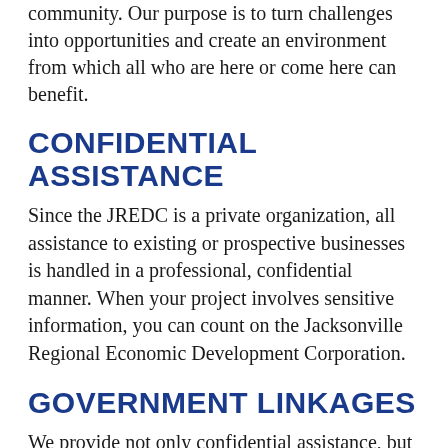community. Our purpose is to turn challenges into opportunities and create an environment from which all who are here or come here can benefit.
CONFIDENTIAL ASSISTANCE
Since the JREDC is a private organization, all assistance to existing or prospective businesses is handled in a professional, confidential manner. When your project involves sensitive information, you can count on the Jacksonville Regional Economic Development Corporation.
GOVERNMENT LINKAGES
We provide not only confidential assistance, but also act as a liaison and guide to funding sources, government, utilities, real estate and services offered by other agencies.